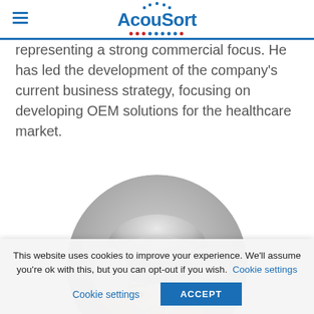AcouSort
representing a strong commercial focus. He has led the development of the company's current business strategy, focusing on developing OEM solutions for the healthcare market.
[Figure (photo): Circular cropped headshot of an older man with white/grey hair against a grey background.]
This website uses cookies to improve your experience. We'll assume you're ok with this, but you can opt-out if you wish. Cookie settings ACCEPT